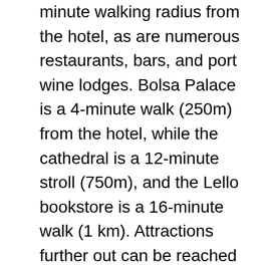Porto's attractions are within a 5 to 20-minute walking radius from the hotel, as are numerous restaurants, bars, and port wine lodges. Bolsa Palace is a 4-minute walk (250m) from the hotel, while the cathedral is a 12-minute stroll (750m), and the Lello bookstore is a 16-minute walk (1 km). Attractions further out can be reached by metro and tram.
Taxis, Uber: Taxis from the airport cost around €20-29. Taxi prices around town are high (around €6-8 for a short ride), and most visitors won't use them much as the city is very walkable. Tipping is not required. It's worth downloading the